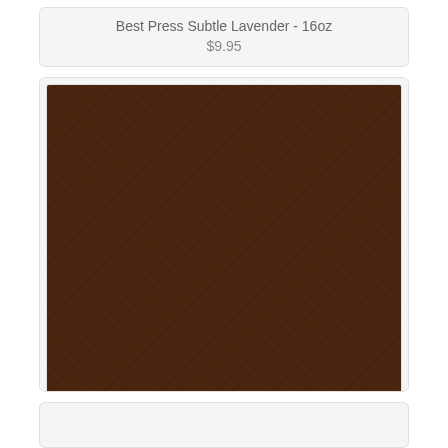Best Press Subtle Lavender - 16oz
$9.95
[Figure (photo): Brown fabric swatch - Bias Bella Brown fabric product image]
Bias Bella Brown
$1.69